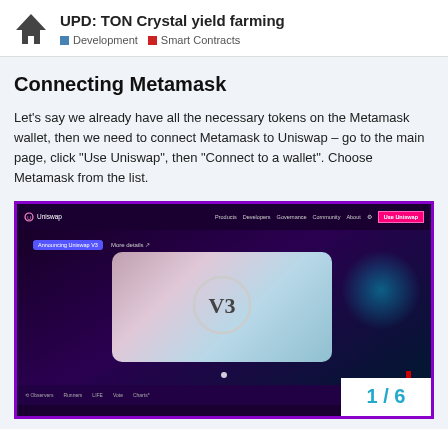UPD: TON Crystal yield farming | Development | Smart Contracts
Connecting Metamask
Let’s say we already have all the necessary tokens on the Metamask wallet, then we need to connect Metamask to Uniswap – go to the main page, click “Use Uniswap”, then “Connect to a wallet”. Choose Metamask from the list.
[Figure (screenshot): Screenshot of the Uniswap website main page showing the navigation bar with 'Use Uniswap' button highlighted in pink/red, the Uniswap V3 hero section with logo, and a page number overlay showing 1/6 in the bottom right corner.]